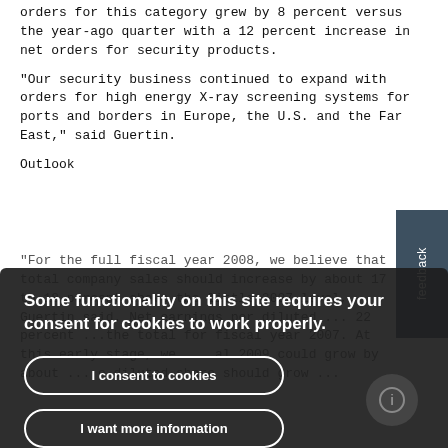orders for this category grew by 8 percent versus the year-ago quarter with a 12 percent increase in net orders for security products.
"Our security business continued to expand with orders for high energy X-ray screening systems for ports and borders in Europe, the U.S. and the Far East," said Guertin.
Outlook
"For the full fiscal year 2008, we believe that total company sales should increase by about 17 to 18 percent above the little 2007 level, Guertin said. Net earnings per diluted ... 22 percent ... the total for fiscal year 2007. At this early stage, we ... fiscal 2009 could grow by about ... per diluted share should grow ...
Some functionality on this site requires your consent for cookies to work properly.
I consent to cookies
I want more information